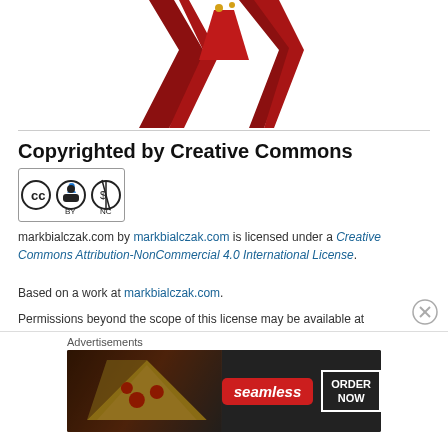[Figure (logo): Red ribbon/bow logo for Creative Commons or markbialczak.com, partially cropped at top]
Copyrighted by Creative Commons
[Figure (logo): Creative Commons CC BY NC badge/icon]
markbialczak.com by markbialczak.com is licensed under a Creative Commons Attribution-NonCommercial 4.0 International License.
Based on a work at markbialczak.com.
Permissions beyond the scope of this license may be available at markbialczak.com.
Advertisements
[Figure (screenshot): Seamless food delivery advertisement banner with pizza image, Seamless logo and ORDER NOW button]